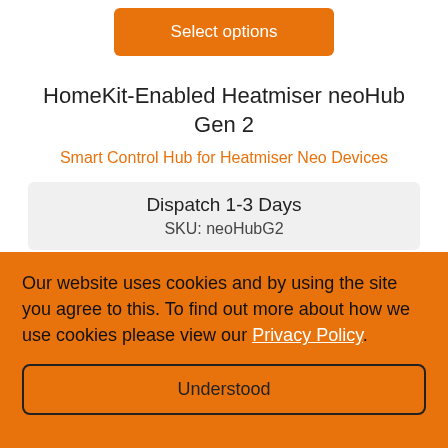Select options
HomeKit-Enabled Heatmiser neoHub Gen 2
Smart Control Hub for Heatmiser Neo Devices
Dispatch 1-3 Days
SKU: neoHubG2
£129.00
Our website uses cookies and by using the site you agree to this. To find out more about how we use cookies please view our Privacy Policy.
Understood